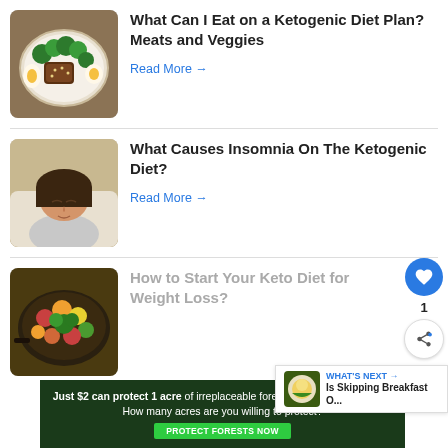[Figure (photo): Bowl of food with broccoli, meat, and hard-boiled eggs on a wooden surface — ketogenic diet meal]
What Can I Eat on a Ketogenic Diet Plan? Meats and Veggies
Read More →
[Figure (photo): Woman sleeping on a pillow — insomnia on ketogenic diet]
What Causes Insomnia On The Ketogenic Diet?
Read More →
[Figure (photo): Pan of colorful vegetables — keto diet for weight loss]
How to Start Your Keto Diet for Weight Loss?
WHAT'S NEXT → Is Skipping Breakfast O...
Just $2 can protect 1 acre of irreplaceable forest homes in the Amazon. How many acres are you willing to protect?